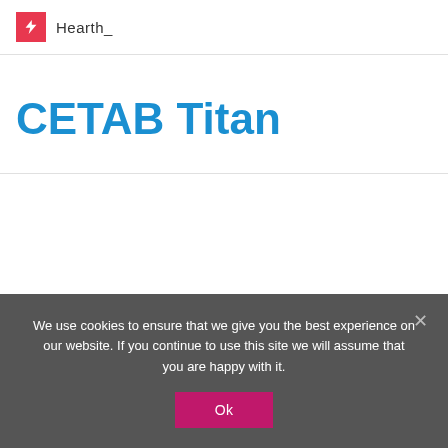Hearth_
CETAB Titan
We use cookies to ensure that we give you the best experience on our website. If you continue to use this site we will assume that you are happy with it.
Ok